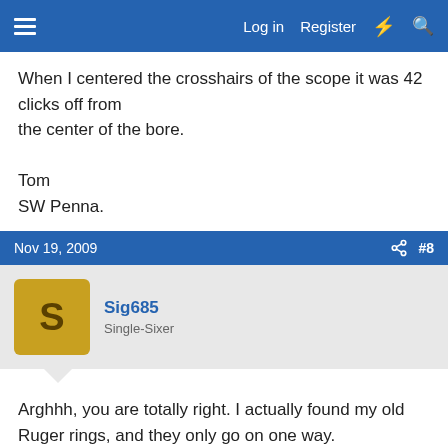≡  Log in  Register  ⚡ 🔍
When I centered the crosshairs of the scope it was 42 clicks off from
the center of the bore.

Tom
SW Penna.
Nov 19, 2009  #8
Sig685
Single-Sixer
Arghhh, you are totally right. I actually found my old Ruger rings, and they only go on one way.

I hope the Millets work for you, 42 clicks is like 10 inches or so at 100 yards, that's a lot.